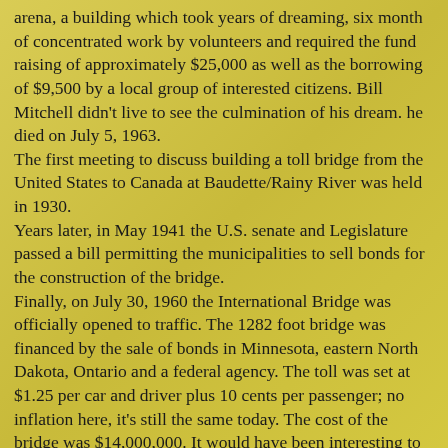arena, a building which took years of dreaming, six month of concentrated work by volunteers and required the fund raising of approximately $25,000 as well as the borrowing of $9,500 by a local group of interested citizens. Bill Mitchell didn't live to see the culmination of his dream. he died on July 5, 1963.
The first meeting to discuss building a toll bridge from the United States to Canada at Baudette/Rainy River was held in 1930.
Years later, in May 1941 the U.S. senate and Legislature passed a bill permitting the municipalities to sell bonds for the construction of the bridge.
Finally, on July 30, 1960 the International Bridge was officially opened to traffic. The 1282 foot bridge was financed by the sale of bonds in Minnesota, eastern North Dakota, Ontario and a federal agency. The toll was set at $1.25 per car and driver plus 10 cents per passenger; no inflation here, it's still the same today. The cost of the bridge was $14,000,000. It would have been interesting to find out how many cars have passed over the bridge, unfortunately, the only figures available were from the Canadian Customs. From April 1975 to February 1979, 430,019 cars arrived from the use side.
While drilling for oil had proved fruitless, digging was successful for Dr. Kenyon, assistant curator of Ethnology at the Royal Ontario Museum. In 1961, a dig took place at Oak Grove Camp. The camp, owned and operated by Leland and Mary Budreau is situated not far from the mouth of Rainy River.
The burial mounds being investigated at the camp were owned and...